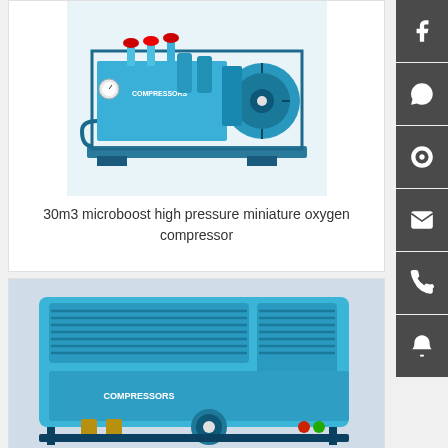[Figure (photo): Blue microboost high pressure miniature oxygen compressor unit viewed from side, showing piping, valves, and motor on a frame, brand shows COMPRESSORS]
30m3 microboost high pressure miniature oxygen compressor
[Figure (photo): Blue oxygen compressor unit viewed from front/side, showing ventilation grilles, hose connections, COMPRESSORS branding, teal/cyan color]